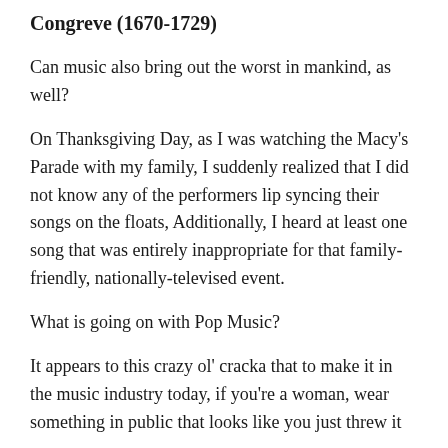Congreve (1670-1729)
Can music also bring out the worst in mankind, as well?
On Thanksgiving Day, as I was watching the Macy’s Parade with my family, I suddenly realized that I did not know any of the performers lip syncing their songs on the floats, Additionally, I heard at least one song that was entirely inappropriate for that family-friendly, nationally-televised event.
What is going on with Pop Music?
It appears to this crazy ol’ cracka that to make it in the music industry today, if you’re a woman, wear something in public that looks like you just threw it